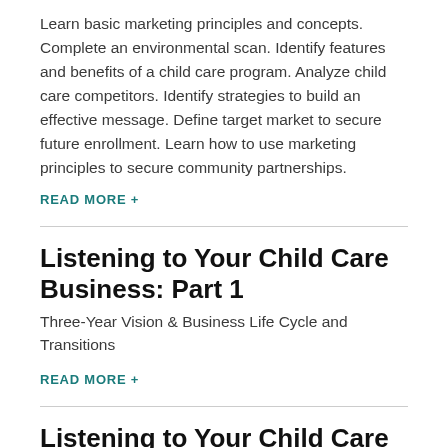Learn basic marketing principles and concepts. Complete an environmental scan. Identify features and benefits of a child care program. Analyze child care competitors. Identify strategies to build an effective message. Define target market to secure future enrollment. Learn how to use marketing principles to secure community partnerships.
READ MORE +
Listening to Your Child Care Business: Part 1
Three-Year Vision & Business Life Cycle and Transitions
READ MORE +
Listening to Your Child Care Business: Part 2
Planning Tools and Competencies & Transition